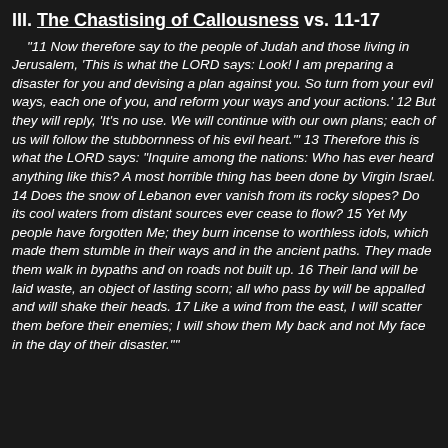III. The Chastising of Callousness vs. 11-17
“11 Now therefore say to the people of Judah and those living in Jerusalem, 'This is what the LORD says: Look! I am preparing a disaster for you and devising a plan against you. So turn from your evil ways, each one of you, and reform your ways and your actions.' 12 But they will reply, 'It's no use. We will continue with our own plans; each of us will follow the stubbornness of his evil heart.'" 13 Therefore this is what the LORD says: "Inquire among the nations: Who has ever heard anything like this? A most horrible thing has been done by Virgin Israel. 14 Does the snow of Lebanon ever vanish from its rocky slopes? Do its cool waters from distant sources ever cease to flow? 15 Yet My people have forgotten Me; they burn incense to worthless idols, which made them stumble in their ways and in the ancient paths. They made them walk in bypaths and on roads not built up. 16 Their land will be laid waste, an object of lasting scorn; all who pass by will be appalled and will shake their heads. 17 Like a wind from the east, I will scatter them before their enemies; I will show them My back and not My face in the day of their disaster.""